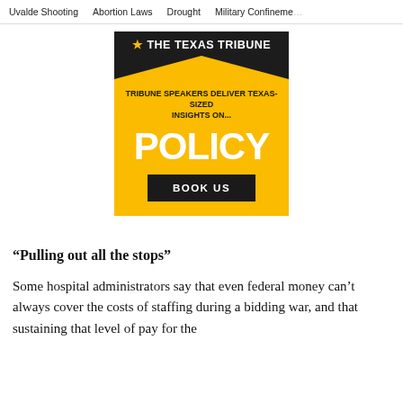Uvalde Shooting   Abortion Laws   Drought   Military Confineme…
[Figure (advertisement): The Texas Tribune advertisement: yellow background with black header triangle containing the Tribune star logo and name. Text reads 'TRIBUNE SPEAKERS DELIVER TEXAS-SIZED INSIGHTS ON... POLICY' with a 'BOOK US' button.]
“Pulling out all the stops”
Some hospital administrators say that even federal money can’t always cover the costs of staffing during a bidding war, and that sustaining that level of pay for the